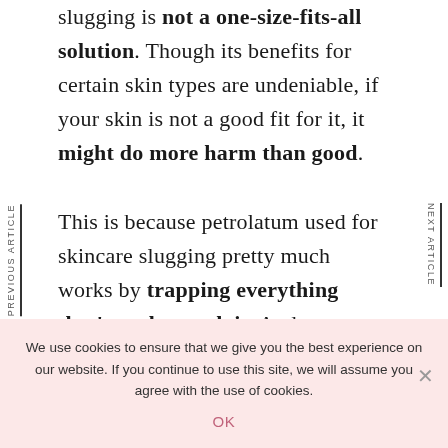slugging is not a one-size-fits-all solution. Though its benefits for certain skin types are undeniable, if your skin is not a good fit for it, it might do more harm than good.
This is because petrolatum used for skincare slugging pretty much works by trapping everything that's underneath it. And even though petrolatum itself doesn't clog your pores, it will trap things
PREVIOUS ARTICLE
NEXT ARTICLE
We use cookies to ensure that we give you the best experience on our website. If you continue to use this site, we will assume you agree with the use of cookies.
OK